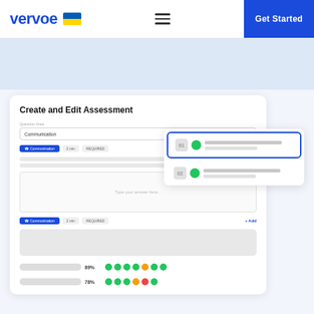vervoe | Get Started
[Figure (screenshot): Vervoe platform screenshot showing 'Create and Edit Assessment' UI with question fields, communication tags, answer text area, and question list panel on the right with score rows at the bottom showing 89% and 78% completion with colored indicator dots]